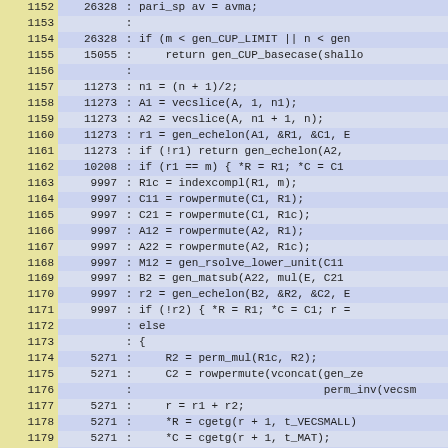[Figure (screenshot): Source code listing with line numbers, hit counts, and code content. Lines 1152-1181 of a C source file showing gen_CUP function implementation.]